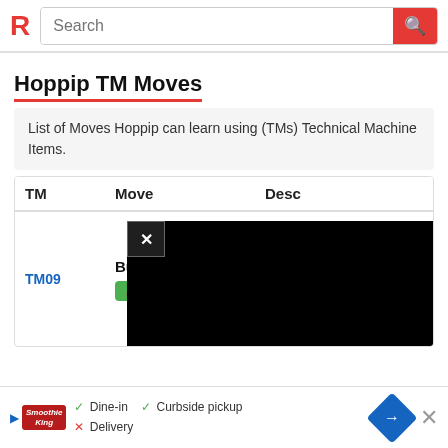Search
Hoppip TM Moves
List of Moves Hoppip can learn using (TMs) Technical Machine Items.
| TM | Move | Desc |
| --- | --- | --- |
| TM09 | Bullet Seed
GRASS | Po...
Ac...
PP...
...
Hi... |
[Figure (screenshot): Black video overlay with close (X) button in top-left corner, covering part of the table. An orange arrow button is visible at the left edge of the overlay.]
Dine-in ✓ Curbside pickup ✓ Delivery ✗